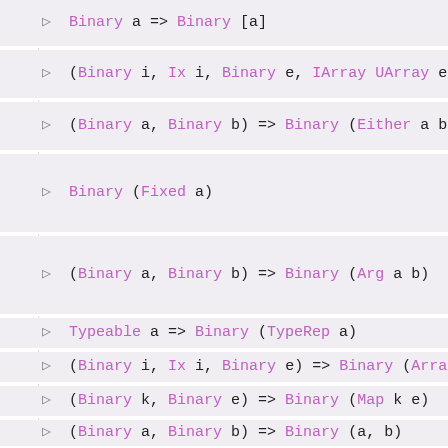▷ Binary a => Binary [a]
▷ (Binary i, Ix i, Binary e, IArray UArray e) =>
▷ (Binary a, Binary b) => Binary (Either a b)
▷ Binary (Fixed a)
▷ (Binary a, Binary b) => Binary (Arg a b)
▷ Typeable a => Binary (TypeRep a)
▷ (Binary i, Ix i, Binary e) => Binary (Array i
▷ (Binary k, Binary e) => Binary (Map k e)
▷ (Binary a, Binary b) => Binary (a, b)
▷ Binary (f a) => Binary (Alt f a)